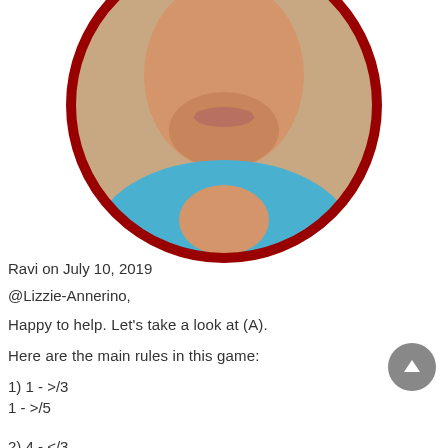[Figure (photo): Circular profile photo of a person wearing a blue shirt, with a dark red border around the circle. Only the lower face/chin and shoulders are visible as the top is cropped.]
Ravi on July 10, 2019
@Lizzie-Annerino,
Happy to help. Let's take a look at (A).
Here are the main rules in this game:
1) 1 - >/3
1 - >/5
2) 4 - </3